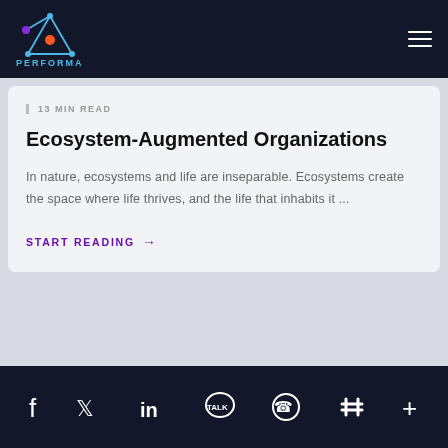[Figure (logo): Performars logo with geometric constellation shape in blue/purple/orange and text PERFORMARS in blue]
13 MIN READ
Ecosystem-Augmented Organizations
In nature, ecosystems and life are inseparable. Ecosystems create the space where life thrives, and the life that inhabits it ...
START READING →
[Figure (infographic): Social media footer icons: Facebook, Twitter, LinkedIn, KakaoTalk, WhatsApp, Slack, plus sign]